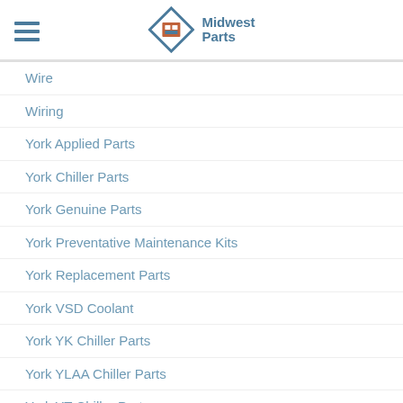Midwest Parts
Wire
Wiring
York Applied Parts
York Chiller Parts
York Genuine Parts
York Preventative Maintenance Kits
York Replacement Parts
York VSD Coolant
York YK Chiller Parts
York YLAA Chiller Parts
York YT Chiller Parts
York YVAA Chiller Parts